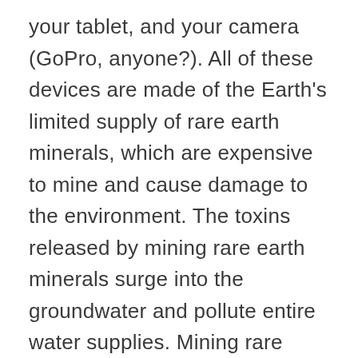your tablet, and your camera (GoPro, anyone?). All of these devices are made of the Earth's limited supply of rare earth minerals, which are expensive to mine and cause damage to the environment. The toxins released by mining rare earth minerals surge into the groundwater and pollute entire water supplies. Mining rare minerals also generates radioactive waste, which is often not disposed of properly. Landing Philae on a comet opens up the possibility of eventually mining rare earth metals from space without further damaging our biosphere.